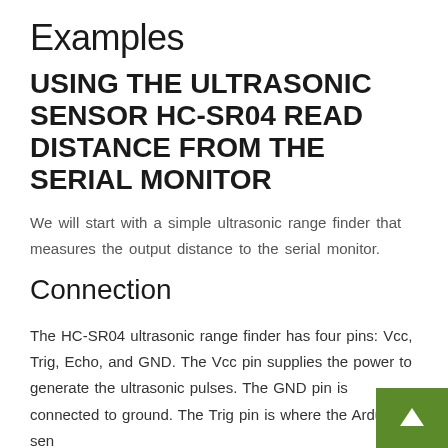Examples
USING THE ULTRASONIC SENSOR HC-SR04 READ DISTANCE FROM THE SERIAL MONITOR
We will start with a simple ultrasonic range finder that measures the output distance to the serial monitor.
Connection
The HC-SR04 ultrasonic range finder has four pins: Vcc, Trig, Echo, and GND. The Vcc pin supplies the power to generate the ultrasonic pulses. The GND pin is connected to ground. The Trig pin is where the Arduino sen